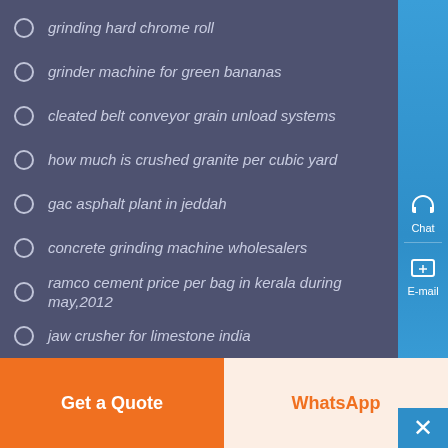grinding hard chrome roll
grinder machine for green bananas
cleated belt conveyor grain unload systems
how much is crushed granite per cubic yard
gac asphalt plant in jeddah
concrete grinding machine wholesalers
ramco cement price per bag in kerala during may,2012
jaw crusher for limestone india
[Figure (logo): Globe icon with circular design in blue tones]
Chat
E-mail
Top
Get a Quote
WhatsApp